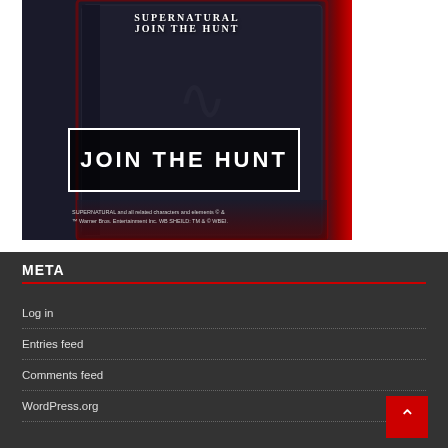[Figure (photo): Supernatural 'Join the Hunt' promotional advertisement showing a dark book/box with a glowing red border and a 'JOIN THE HUNT' button overlay. Copyright notice for Warner Bros. Entertainment Inc.]
META
Log in
Entries feed
Comments feed
WordPress.org